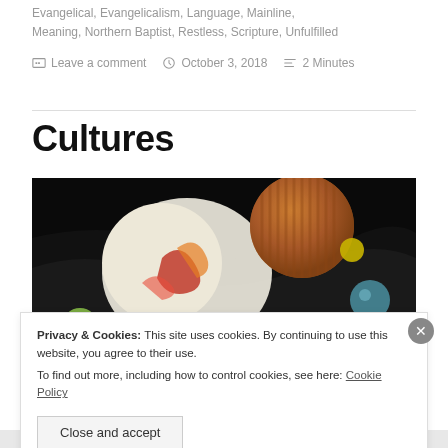Evangelical, Evangelicalism, Language, Mainline, Meaning, Northern Baptist, Restless, Scripture, Unfulfilled
Leave a comment   October 3, 2018   2 Minutes
Cultures
[Figure (illustration): Painting showing a figure in white with red and orange colors on the left, dark background with spherical objects including an orange/brown sphere and a small blue-green sphere on the right.]
Privacy & Cookies: This site uses cookies. By continuing to use this website, you agree to their use. To find out more, including how to control cookies, see here: Cookie Policy
Close and accept